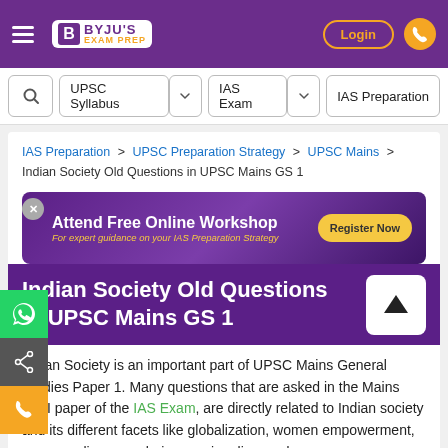BYJU'S EXAM PREP — Login
UPSC Syllabus | IAS Exam | IAS Preparation
IAS Preparation > UPSC Preparation Strategy > UPSC Mains > Indian Society Old Questions in UPSC Mains GS 1
[Figure (infographic): Attend Free Online Workshop banner — For expert guidance on your IAS Preparation Strategy. Register Now button.]
Indian Society Old Questions in UPSC Mains GS 1
Indian Society is an important part of UPSC Mains General Studies Paper 1. Many questions that are asked in the Mains GS-I paper of the IAS Exam, are directly related to Indian society and its different facets like globalization, women empowerment, communalism, secularism, regionalism and